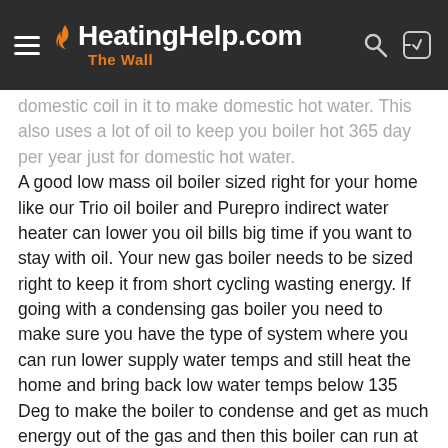HeatingHelp.com — The Wall
domestic coil in it to make domestic hot water. This also uses a lot of oil to keep you boiler hot 365 day per year just for domestic hot water.
A good low mass oil boiler sized right for your home like our Trio oil boiler and Purepro indirect water heater can lower you oil bills big time if you want to stay with oil. Your new gas boiler needs to be sized right to keep it from short cycling wasting energy. If going with a condensing gas boiler you need to make sure you have the type of system where you can run lower supply water temps and still heat the home and bring back low water temps below 135 Deg to make the boiler to condense and get as much energy out of the gas and then this boiler can run at 90% efficiency or higher. If your system can not make the boiler condense a high efficiency condensing boiler efficiency